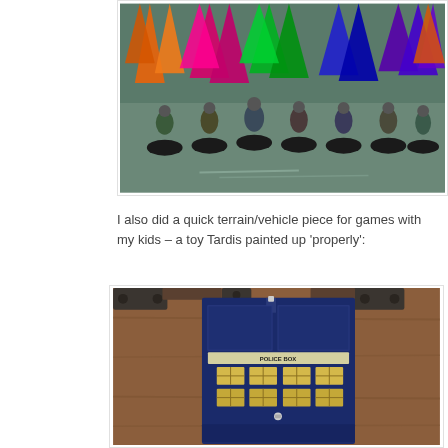[Figure (photo): Photo of painted tabletop miniature figures on a grey surface with colourful feather decorations in the background]
I also did a quick terrain/vehicle piece for games with my kids – a toy Tardis painted up 'properly':
[Figure (photo): Photo of a painted toy TARDIS police box prop on a wooden surface with metal hardware visible in the background]